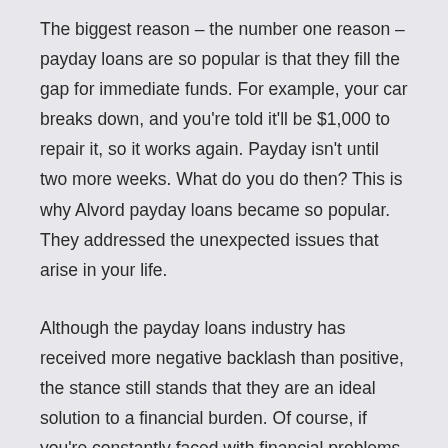The biggest reason – the number one reason – payday loans are so popular is that they fill the gap for immediate funds. For example, your car breaks down, and you're told it'll be $1,000 to repair it, so it works again. Payday isn't until two more weeks. What do you do then? This is why Alvord payday loans became so popular. They addressed the unexpected issues that arise in your life.
Although the payday loans industry has received more negative backlash than positive, the stance still stands that they are an ideal solution to a financial burden. Of course, if you're constantly faced with financial problems, you don't want to get a loan in the hopes to fix it.